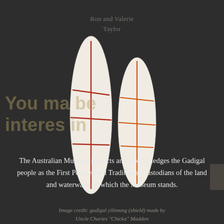Ron and Valerie
Taylor
You may also be
interested in
[Figure (photo): Two elongated leaf/shield shaped objects with painted red/orange cross-hatch line patterns on a dark background. Left shield has dark red lines, right shield has orange lines. Both are narrow at top and bottom, widest in middle.]
The Australian Museum respects and acknowledges the Gadigal people as the First Peoples and Traditional Custodians of the land and waterways on which the Museum stands.
Image credit: gadigal yilimung (shield) made by Uncle Charles "Chicka" Madden